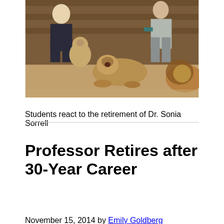[Figure (photo): Two people crouching with multiple lions and lion cubs in what appears to be an indoor enclosure with wooden walls and sandy floor.]
Students react to the retirement of Dr. Sonia Sorrell
Professor Retires after 30-Year Career
November 15, 2014 by Emily Goldberg